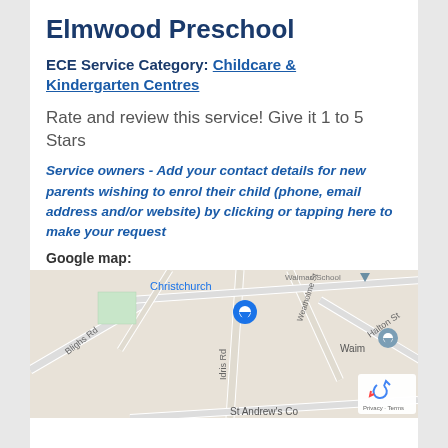Elmwood Preschool
ECE Service Category: Childcare & Kindergarten Centres
Rate and review this service! Give it 1 to 5 Stars
Service owners - Add your contact details for new parents wishing to enrol their child (phone, email address and/or website) by clicking or tapping here to make your request
Google map:
[Figure (map): Google map showing Elmwood Preschool location in Christchurch, with surrounding streets including Blighs Rd, Idris Rd, Weatholme St, and Halton St, with a location pin marker]